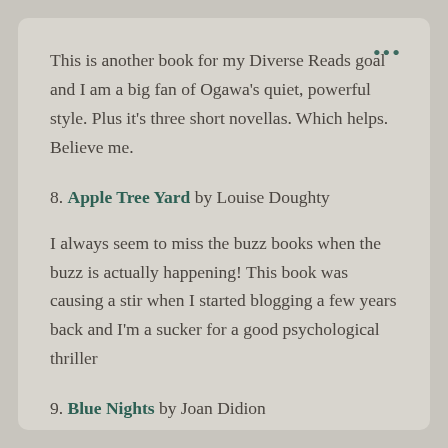This is another book for my Diverse Reads goal and I am a big fan of Ogawa's quiet, powerful style. Plus it's three short novellas. Which helps. Believe me.
8. Apple Tree Yard by Louise Doughty
I always seem to miss the buzz books when the buzz is actually happening! This book was causing a stir when I started blogging a few years back and I'm a sucker for a good psychological thriller
9. Blue Nights by Joan Didion